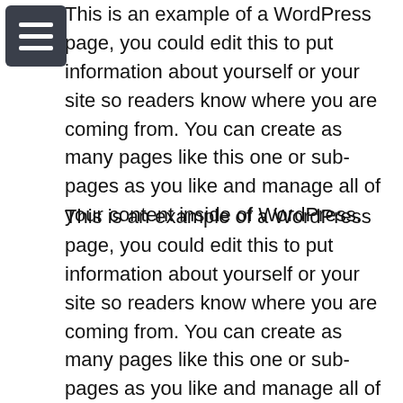[Figure (other): Hamburger menu icon: three horizontal white lines on a dark gray/charcoal rounded rectangle background]
This is an example of a WordPress page, you could edit this to put information about yourself or your site so readers know where you are coming from. You can create as many pages like this one or sub-pages as you like and manage all of your content inside of WordPress.
This is an example of a WordPress page, you could edit this to put information about yourself or your site so readers know where you are coming from. You can create as many pages like this one or sub-pages as you like and manage all of your content inside of WordPress. This is an example of a WordPress page, you could edit this to put information about yourself or your site so readers know where you are coming from. You can create as many pages like this one or sub-pages as you like and manage all of your content